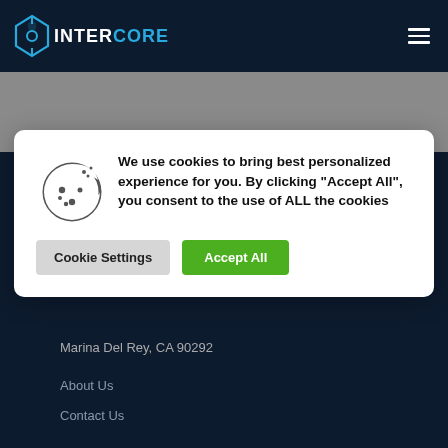INTERCORE
[Figure (screenshot): Cookie consent modal with cookie icon, text about cookie usage, and two buttons: Cookie Settings and Accept All]
We use cookies to bring best personalized experience for you. By clicking “Accept All”, you consent to the use of ALL the cookies
Marina Del Rey, CA 90292
About Us
Contact Us